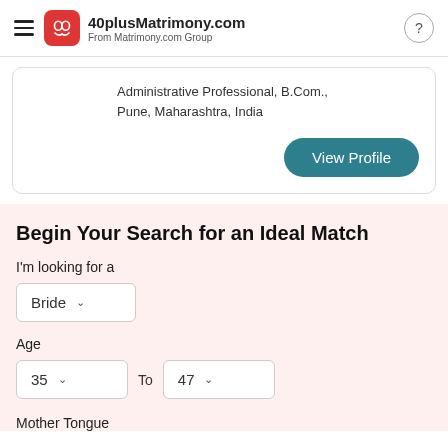40plusMatrimony.com From Matrimony.com Group
Administrative Professional, B.Com., Pune, Maharashtra, India
View Profile
Begin Your Search for an Ideal Match
I'm looking for a
Bride
Age
35  To  47
Mother Tongue